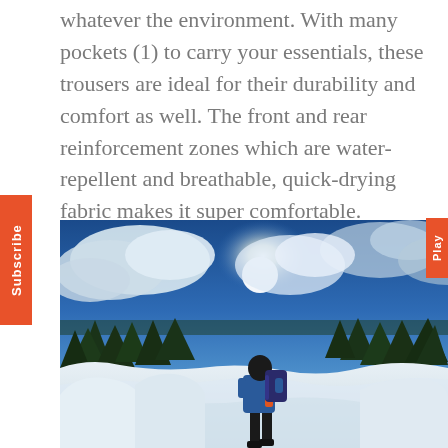whatever the environment. With many pockets (1) to carry your essentials, these trousers are ideal for their durability and comfort as well. The front and rear reinforcement zones which are water-repellent and breathable, quick-drying fabric makes it super comfortable.
[Figure (photo): A person wearing a blue jacket and backpack standing on a snowy mountain trail with pine trees and a bright sky with clouds in the background.]